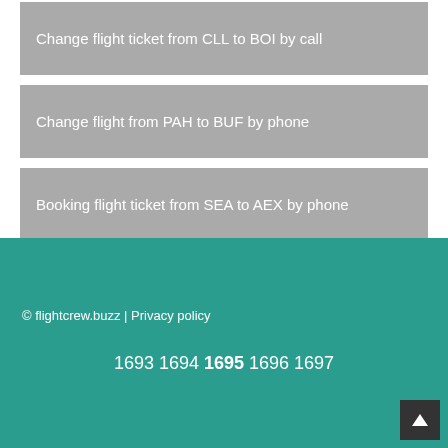Change flight ticket from CLL to BOI by call
Change flight from PAH to BUF by phone
Booking flight ticket from SEA to AEX by phone
© flightcrew.buzz | Privacy policy
1693 1694 1695 1696 1697